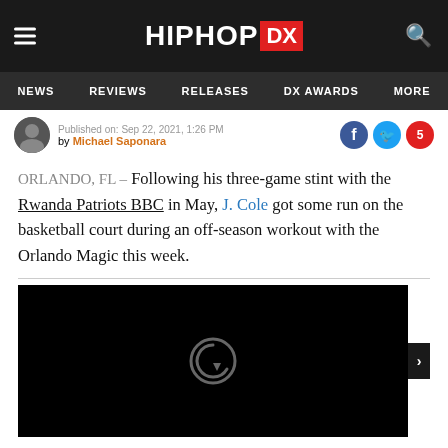HIPHOP DX
NEWS | REVIEWS | RELEASES | DX AWARDS | MORE
Published on: Sep 22, 2021, 1:26 PM
by Michael Saponara
ORLANDO, FL – Following his three-game stint with the Rwanda Patriots BBC in May, J. Cole got some run on the basketball court during an off-season workout with the Orlando Magic this week.
[Figure (screenshot): Black video player with replay icon in center]